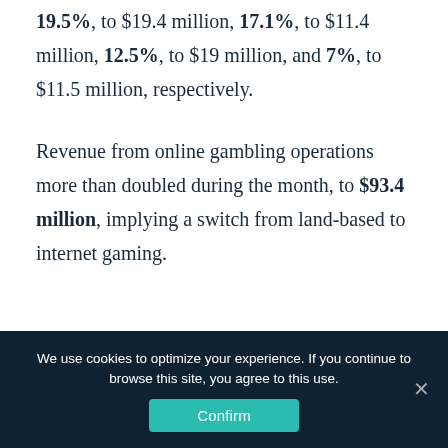19.5%, to $19.4 million, 17.1%, to $11.4 million, 12.5%, to $19 million, and 7%, to $11.5 million, respectively.
Revenue from online gambling operations more than doubled during the month, to $93.4 million, implying a switch from land-based to internet gaming.
RELATED TOPICS: #division of gaming enforcement #finance #newjersey #usa
We use cookies to optimize your experience. If you continue to browse this site, you agree to this use.